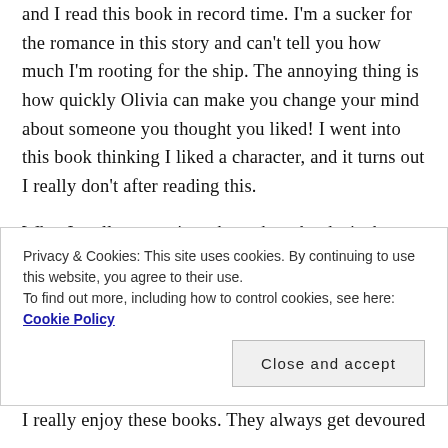and I read this book in record time. I'm a sucker for the romance in this story and can't tell you how much I'm rooting for the ship. The annoying thing is how quickly Olivia can make you change your mind about someone you thought you liked! I went into this book thinking I liked a character, and it turns out I really don't after reading this.
What I really appreciate about these books is that Ness, our main character, is strong, independent, and has known much heartache and personal tragedy. It's one of the reasons we root for her so much in these books. She is determined and has exhibited strength and...
Privacy & Cookies: This site uses cookies. By continuing to use this website, you agree to their use.
To find out more, including how to control cookies, see here: Cookie Policy
Close and accept
I really enjoy these books. They always get devoured